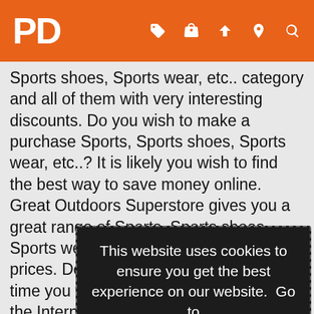PD — navigation header with icons
Sports shoes, Sports wear, etc.. category and all of them with very interesting discounts. Do you wish to make a purchase Sports, Sports shoes, Sports wear, etc..? It is likely you wish to find the best way to save money online. Great Outdoors Superstore gives you a great range of Sports, Sports shoes, Sports wear, etc.. at very competitive prices. Don't forget to to visit our site any time you you wish to place an order on the Internet. Nowadays, many web... For instance Great Outdoors Superstore, coupons are considered to be a potential offer. Discount coupons are a very powerful marketing tool. The use of vouchers coupons is something that online stores had to use and to face the impossibility of receiving traditional coupon directly from the stores, discount codes from... Straight... The discount codes are made up of a series of numbers and letters that can be entered at the promotional box
This website uses cookies to ensure you get the best experience on our website.  Go to
Legal Questions Use of this website
Accept